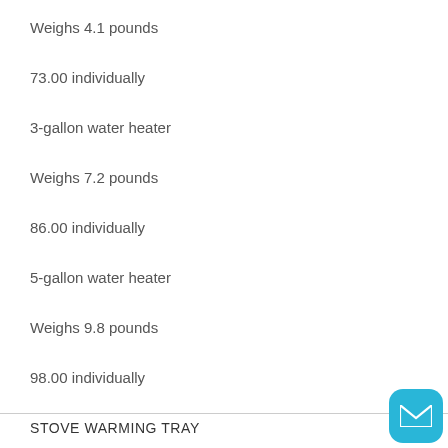Weighs 4.1 pounds
73.00 individually
3-gallon water heater
Weighs 7.2 pounds
86.00 individually
5-gallon water heater
Weighs 9.8 pounds
98.00 individually
STOVE WARMING TRAY
[Figure (photo): Partial view of a dark brown/grey rectangular warming tray (stove warming tray product photo), showing the corner and edge of the flat tray with legs visible.]